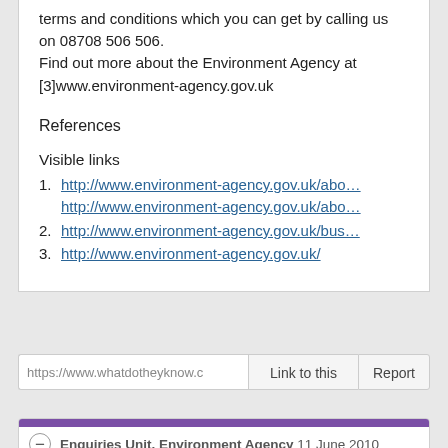terms and conditions which you can get by calling us on 08708 506 506.
Find out more about the Environment Agency at [3]www.environment-agency.gov.uk
References
Visible links
1. http://www.environment-agency.gov.uk/abo...
http://www.environment-agency.gov.uk/abo...
2. http://www.environment-agency.gov.uk/bus...
3. http://www.environment-agency.gov.uk/
https://www.whatdotheyknow.c  Link to this  Report
Enquiries Unit, Environment Agency  11 June 2010